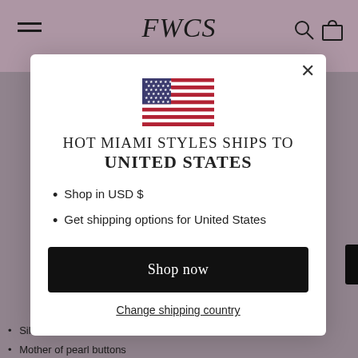FMS — Hot Miami Styles navigation bar
[Figure (screenshot): US flag SVG illustration in the modal]
HOT MIAMI STYLES SHIPS TO UNITED STATES
Shop in USD $
Get shipping options for United States
Shop now
Change shipping country
Silver hardware
Mother of pearl buttons